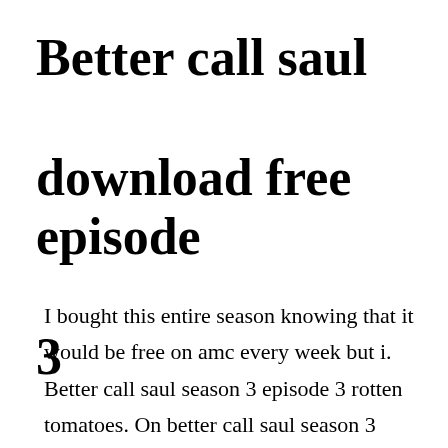Better call saul download free episode 3
I bought this entire season knowing that it would be free on amc every week but i. Better call saul season 3 episode 3 rotten tomatoes. On better call saul season 3 episode 4, chuck and jimmy struggle to compromise while